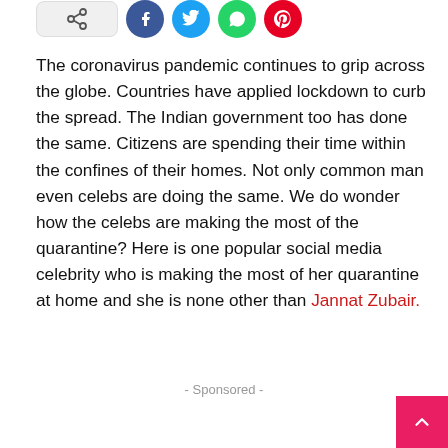[Figure (other): Social media share buttons: gray share button, Facebook (blue), Twitter (light blue), WhatsApp (green), Pinterest (red)]
The coronavirus pandemic continues to grip across the globe. Countries have applied lockdown to curb the spread. The Indian government too has done the same. Citizens are spending their time within the confines of their homes. Not only common man even celebs are doing the same. We do wonder how the celebs are making the most of the quarantine? Here is one popular social media celebrity who is making the most of her quarantine at home and she is none other than Jannat Zubair.
- Sponsored -
Jannat Zubair celebrated Sibling Day with her brother Ayan and shared the hilarious video on her Instagram handle.
Check out the adorable video that is too cute to be missed here: